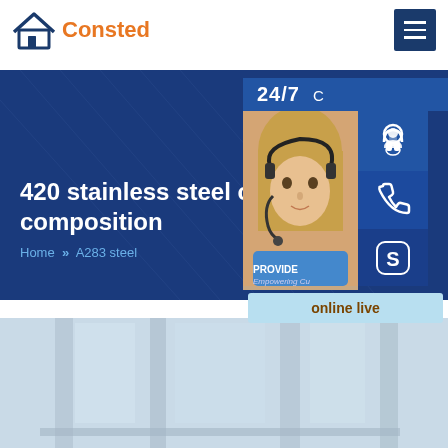Consted
420 stainless steel chemical composition
Home >> A283 steel
[Figure (screenshot): Customer service sidebar with 24/7 label, woman with headset photo, phone icon, Skype icon, PROVIDE Empowering Customers text, and online live button]
[Figure (photo): Bottom portion showing a blurred industrial or office building interior with steel columns]